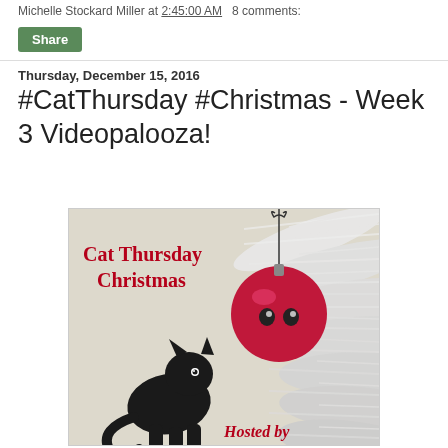Michelle Stockard Miller at 2:45:00 AM   8 comments:
Share
Thursday, December 15, 2016
#CatThursday #Christmas - Week 3 Videopalooza!
[Figure (illustration): Illustrated vintage-style card showing a black cat looking up at a pink/red Christmas ornament hanging from white pine tree branches. Text reads 'Cat Thursday Christmas' in red serif font at top left, and 'Hosted by' at the bottom.]